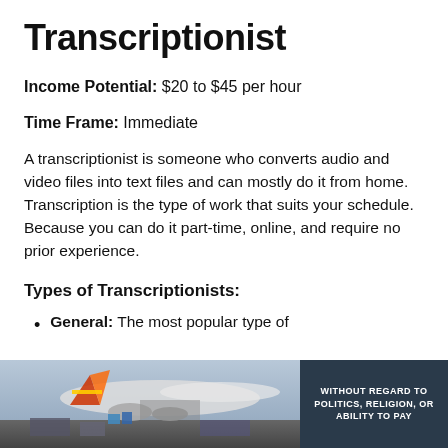Transcriptionist
Income Potential: $20 to $45 per hour
Time Frame: Immediate
A transcriptionist is someone who converts audio and video files into text files and can mostly do it from home. Transcription is the type of work that suits your schedule. Because you can do it part-time, online, and require no prior experience.
Types of Transcriptionists:
General: The most popular type of
[Figure (photo): Advertisement banner showing cargo aircraft being loaded, with a dark overlay box on the right containing text 'WITHOUT REGARD TO POLITICS, RELIGION, OR ABILITY TO PAY']